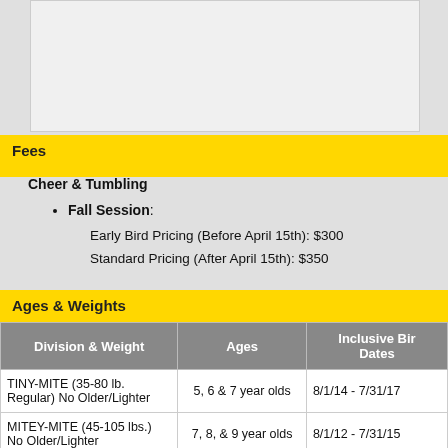[Figure (other): Gray/white blank box at top of page]
Fees
Cheer & Tumbling
Fall Session:
Early Bird Pricing (Before April 15th): $300
Standard Pricing (After April 15th): $350
Ages & Weights
| Division & Weight | Ages | Inclusive Birth Dates |
| --- | --- | --- |
| TINY-MITE (35-80 lb. Regular) No Older/Lighter | 5, 6 & 7 year olds | 8/1/14 - 7/31/17 |
| MITEY-MITE (45-105 lbs.) No Older/Lighter | 7, 8, & 9 year olds | 8/1/12 - 7/31/15 |
| JR. PEE WEE (60-120 lbs.) | 8, 9 & 10 year. olds | 8/1/11 - 7/31/14 8/1/1 |